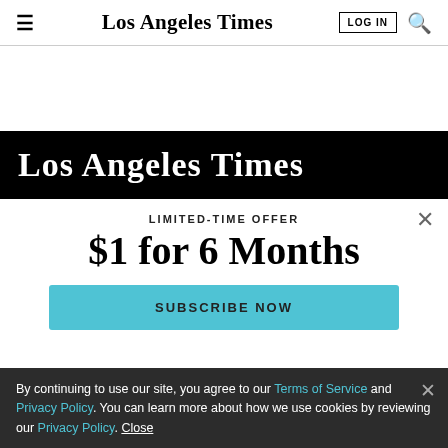Los Angeles Times | LOG IN | Search
[Figure (logo): Los Angeles Times blackletter logo in white text on black banner background]
LIMITED-TIME OFFER
$1 for 6 Months
SUBSCRIBE NOW
By continuing to use our site, you agree to our Terms of Service and Privacy Policy. You can learn more about how we use cookies by reviewing our Privacy Policy. Close